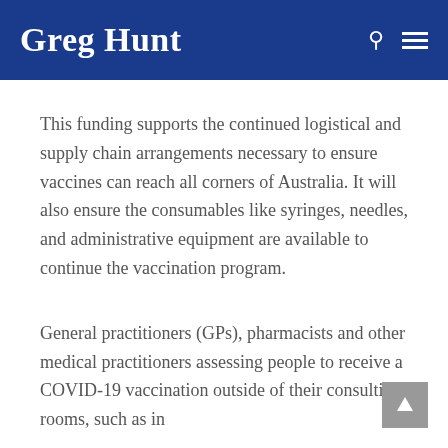Greg Hunt
This funding supports the continued logistical and supply chain arrangements necessary to ensure vaccines can reach all corners of Australia. It will also ensure the consumables like syringes, needles, and administrative equipment are available to continue the vaccination program.
General practitioners (GPs), pharmacists and other medical practitioners assessing people to receive a COVID-19 vaccination outside of their consulting rooms, such as in